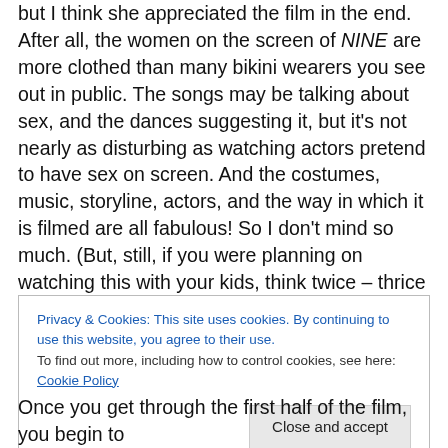taken aback by the raciness of the first half of the movie, but I think she appreciated the film in the end. After all, the women on the screen of NINE are more clothed than many bikini wearers you see out in public. The songs may be talking about sex, and the dances suggesting it, but it's not nearly as disturbing as watching actors pretend to have sex on screen. And the costumes, music, storyline, actors, and the way in which it is filmed are all fabulous! So I don't mind so much. (But, still, if you were planning on watching this with your kids, think twice – thrice – unless, of course, your kids are planning to watch it with their
Privacy & Cookies: This site uses cookies. By continuing to use this website, you agree to their use. To find out more, including how to control cookies, see here: Cookie Policy
Once you get through the first half of the film, you begin to